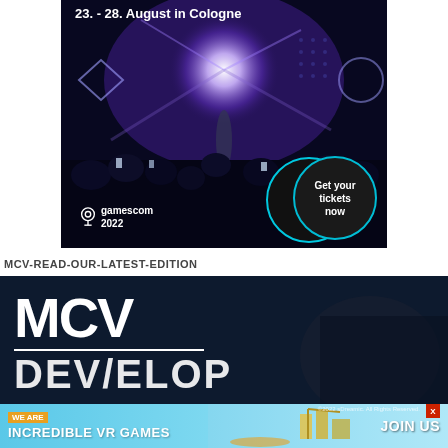[Figure (photo): Gamescom 2022 advertisement banner showing a concert crowd with a glowing orb, date '23. - 28. August in Cologne', gamescom 2022 logo, and 'Get your tickets now' button]
MCV-READ-OUR-LATEST-EDITION
[Figure (photo): MCV Develop magazine banner with large white MCV logo text and DEVELOP text below on dark blue background]
[Figure (photo): Advertisement banner: WE ARE / INCREDIBLE VR GAMES with JOIN US button, teal/blue background with isometric city scene]